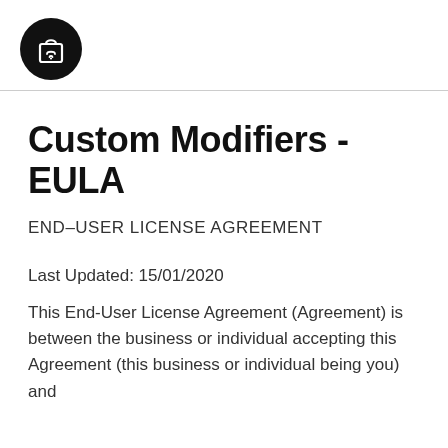[Figure (logo): Black circle with white shopping bag icon with wifi/signal symbol]
Custom Modifiers - EULA
END–USER LICENSE AGREEMENT
Last Updated: 15/01/2020
This End-User License Agreement (Agreement) is between the business or individual accepting this Agreement (this business or individual being you) and